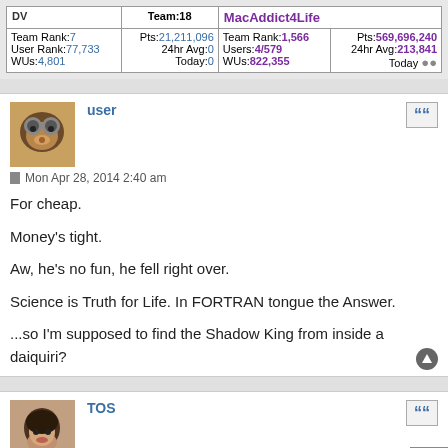| DV | Team: 18 | MacAddict4Life |
| --- | --- | --- |
| Team Rank: 7 | Pts: 21,211,096 | Team Rank: 1,566 | Pts: 569,696,240 |
| User Rank: 77,733 | 24hr Avg: 0 | Users: 4/579 | 24hr Avg: 213,841 |
| WUs: 4,801 | Today: 0 | WUs: 822,355 | Today ··· |
[Figure (photo): User avatar showing a raccoon or small animal face]
user
Mon Apr 28, 2014 2:40 am
For cheap.

Money's tight.

Aw, he's no fun, he fell right over.

Science is Truth for Life. In FORTRAN tongue the Answer.

...so I'm supposed to find the Shadow King from inside a daiquiri?
[Figure (photo): User avatar showing a person's face (TOS)]
TOS
Mon Apr 28, 2014 9:09 am